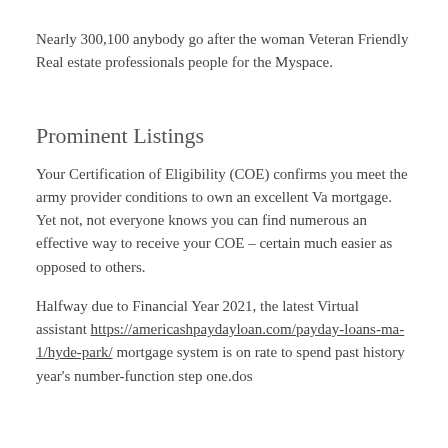Nearly 300,100 anybody go after the woman Veteran Friendly Real estate professionals people for the Myspace.
Prominent Listings
Your Certification of Eligibility (COE) confirms you meet the army provider conditions to own an excellent Va mortgage. Yet not, not everyone knows you can find numerous an effective way to receive your COE – certain much easier as opposed to others.
Halfway due to Financial Year 2021, the latest Virtual assistant https://americashpaydayloan.com/payday-loans-ma-1/hyde-park/ mortgage system is on rate to spend past history year's number-function step one.dos